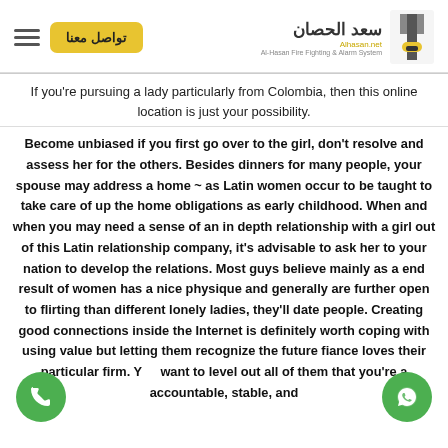تواصل معنا | سعد الحصان | Al-Hasan Fire Fighting & Alarm Systems
If you're pursuing a lady particularly from Colombia, then this online location is just your possibility.
Become unbiased if you first go over to the girl, don't resolve and assess her for the others. Besides dinners for many people, your spouse may address a home ~ as Latin women occur to be taught to take care of up the home obligations as early childhood. When and when you may need a sense of an in depth relationship with a girl out of this Latin relationship company, it's advisable to ask her to your nation to develop the relations. Most guys believe mainly as a end result of women has a nice physique and generally are further open to flirting than different lonely ladies, they'll date people. Creating good connections inside the Internet is definitely worth coping with using value but letting them recognize the future fiance loves their particular firm. You want to level out all of them that you're a accountable, stable, and